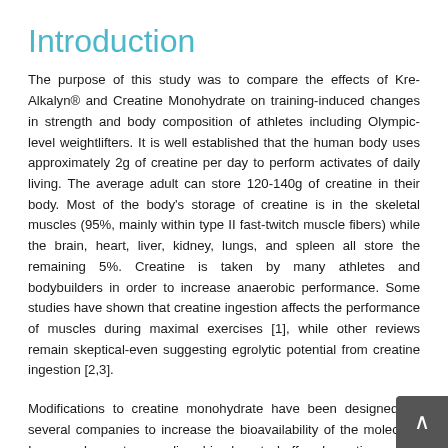Introduction
The purpose of this study was to compare the effects of Kre-Alkalyn® and Creatine Monohydrate on training-induced changes in strength and body composition of athletes including Olympic-level weightlifters. It is well established that the human body uses approximately 2g of creatine per day to perform activates of daily living. The average adult can store 120-140g of creatine in their body. Most of the body's storage of creatine is in the skeletal muscles (95%, mainly within type II fast-twitch muscle fibers) while the brain, heart, liver, kidney, lungs, and spleen all store the remaining 5%. Creatine is taken by many athletes and bodybuilders in order to increase anaerobic performance. Some studies have shown that creatine ingestion affects the performance of muscles during maximal exercises [1], while other reviews remain skeptical-even suggesting egrolytic potential from creatine ingestion [2,3].
Modifications to creatine monohydrate have been designed by several companies to increase the bioavailability of the molecule. In several reports, a sodium bicarbonate buffered creatine, under the trade name Kre-Alkalyn®, has been shown to provide moderate increases in bioavailability [4,5]. The pH buffering systems, such as